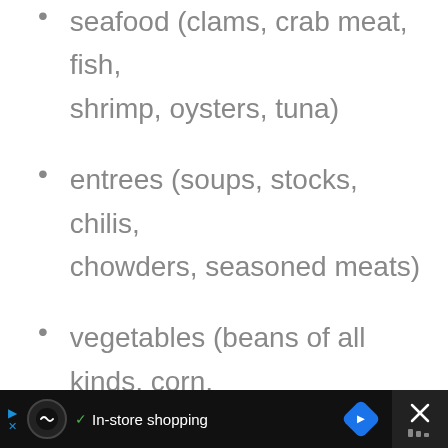seafood (clams, crab meat, fish, shrimp, oysters, tuna)
entrees (soups, stocks, chilis, chowders, seasoned meats)
vegetables (beans of all kinds, corn, carrots, mixed veg, peas of all kinds, mushrooms, parsnips, potatoes, peppers, okra, mushrooms, onions, tomatoes/sauces)
In-store shopping [advertisement bar]